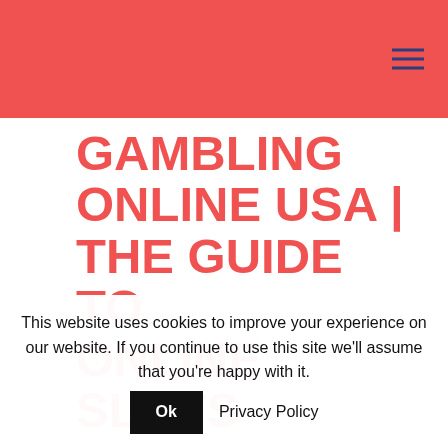GAMBLING ONLINE USA | THE GUIDE TO ONLINE SLOTS
by | May 26, 2021 | Uncategorized
HOW TO MAKE MONEY IN AN ONLINE
This website uses cookies to improve your experience on our website. If you continue to use this site we'll assume that you're happy with it.  Ok  Privacy Policy